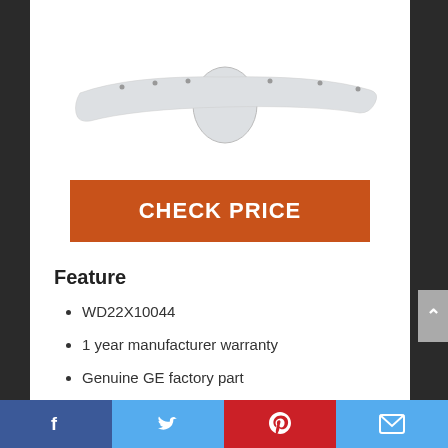[Figure (photo): White dishwasher door handle (GE part WD22X10044), elongated lever shape with small screw holes, mounted on a round base, shown on white background]
CHECK PRICE
Feature
WD22X10044
1 year manufacturer warranty
Genuine GE factory part